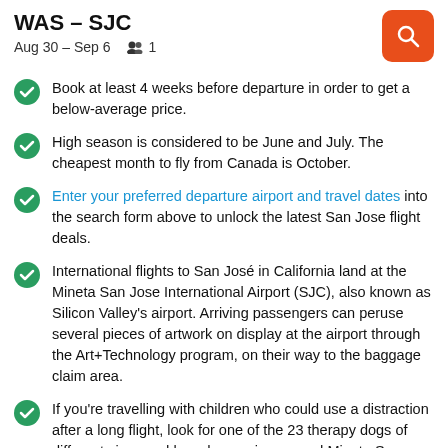WAS – SJC
Aug 30 – Sep 6   1
Book at least 4 weeks before departure in order to get a below-average price.
High season is considered to be June and July. The cheapest month to fly from Canada is October.
Enter your preferred departure airport and travel dates into the search form above to unlock the latest San Jose flight deals.
International flights to San José in California land at the Mineta San Jose International Airport (SJC), also known as Silicon Valley's airport. Arriving passengers can peruse several pieces of artwork on display at the airport through the Art+Technology program, on their way to the baggage claim area.
If you're travelling with children who could use a distraction after a long flight, look for one of the 23 therapy dogs of different sizes and breeds roaming around Mineta San Jose International Airport.
For passengers travelling without children, you may find relief...